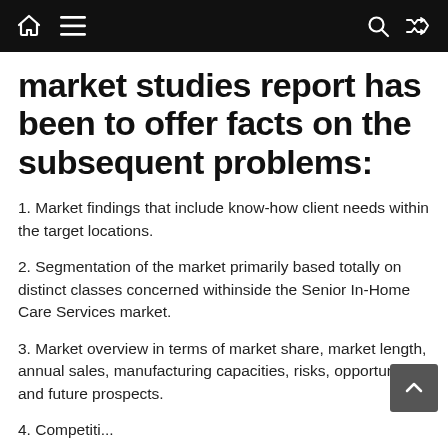[Navigation bar with home, menu, search, shuffle icons]
market studies report has been to offer facts on the subsequent problems:
1. Market findings that include know-how client needs within the target locations.
2. Segmentation of the market primarily based totally on distinct classes concerned withinside the Senior In-Home Care Services market.
3. Market overview in terms of market share, market length, annual sales, manufacturing capacities, risks, opportunities, and future prospects.
4. Competition...